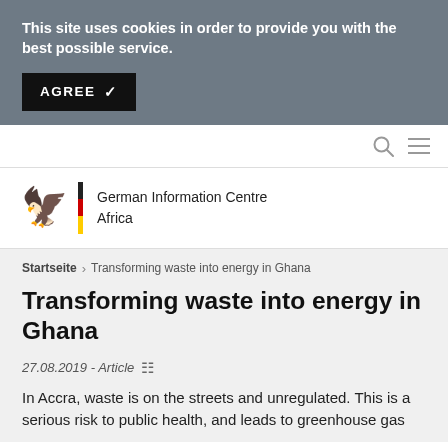This site uses cookies in order to provide you with the best possible service.
AGREE ✓
[Figure (logo): Search icon and hamburger menu icon in navigation bar]
[Figure (logo): German Federal Eagle logo with German flag stripe beside text: German Information Centre Africa]
Startseite › Transforming waste into energy in Ghana
Transforming waste into energy in Ghana
27.08.2019 - Article
In Accra, waste is on the streets and unregulated. This is a serious risk to public health, and leads to greenhouse gas